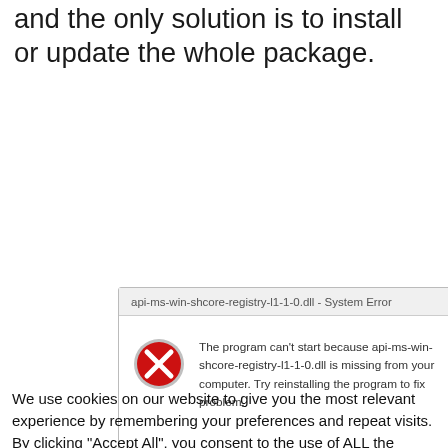and the only solution is to install or update the whole package.
[Figure (screenshot): Windows System Error dialog box with title 'api-ms-win-shcore-registry-l1-1-0.dll - System Error' and message 'The program can't start because api-ms-win-shcore-registry-l1-1-0.dll is missing from your computer. Try reinstalling the program to fix problem.' with a red X error icon on the left.]
We use cookies on our website to give you the most relevant experience by remembering your preferences and repeat visits. By clicking “Accept All”, you consent to the use of ALL the cookies. However, you may visit "Cookie Settings" to provide a controlled consent.
Privacy Policy
Cookie Settings
Accept All